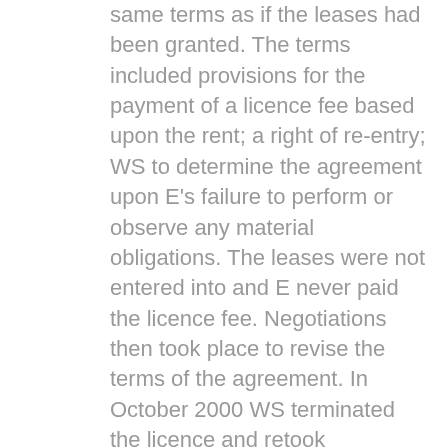same terms as if the leases had been granted. The terms included provisions for the payment of a licence fee based upon the rent; a right of re-entry; WS to determine the agreement upon E's failure to perform or observe any material obligations. The leases were not entered into and E never paid the licence fee. Negotiations then took place to revise the terms of the agreement. In October 2000 WS terminated the licence and retook possession of the additional building. In November 2000 E sought reinstatement. It claimed that it was entitled to rent-free periods in relation to the additional building so WS was not entitled to evict it. The basis for this claim was proprietary estoppel or, alternatively, constructive trust. The court had to decide whether E had a strong enough